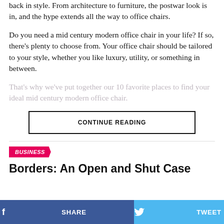back in style. From architecture to furniture, the postwar look is in, and the hype extends all the way to office chairs.
Do you need a mid century modern office chair in your life? If so, there's plenty to choose from. Your office chair should be tailored to your style, whether you like luxury, utility, or something in between.
That's why we've put together our 10 favorite places to find your ideal mid century modern office chair.
CONTINUE READING
BUSINESS
Borders: An Open and Shut Case